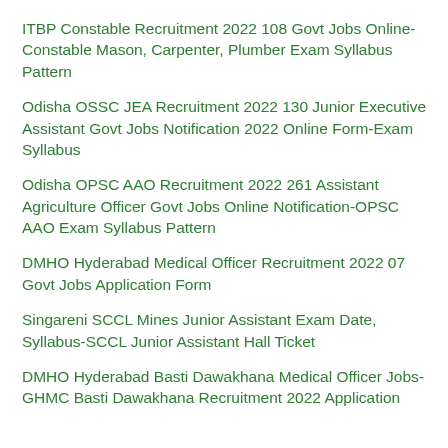ITBP Constable Recruitment 2022 108 Govt Jobs Online-Constable Mason, Carpenter, Plumber Exam Syllabus Pattern
Odisha OSSC JEA Recruitment 2022 130 Junior Executive Assistant Govt Jobs Notification 2022 Online Form-Exam Syllabus
Odisha OPSC AAO Recruitment 2022 261 Assistant Agriculture Officer Govt Jobs Online Notification-OPSC AAO Exam Syllabus Pattern
DMHO Hyderabad Medical Officer Recruitment 2022 07 Govt Jobs Application Form
Singareni SCCL Mines Junior Assistant Exam Date, Syllabus-SCCL Junior Assistant Hall Ticket
DMHO Hyderabad Basti Dawakhana Medical Officer Jobs-GHMC Basti Dawakhana Recruitment 2022 Application